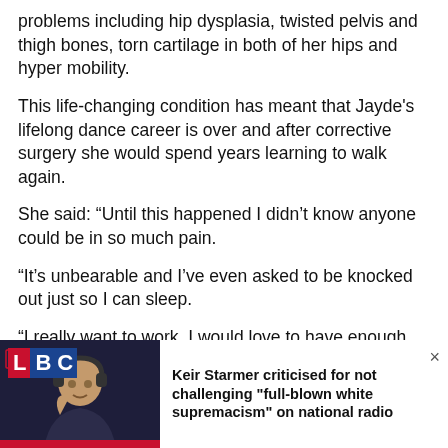problems including hip dysplasia, twisted pelvis and thigh bones, torn cartilage in both of her hips and hyper mobility.
This life-changing condition has meant that Jayde's lifelong dance career is over and after corrective surgery she would spend years learning to walk again.
She said: “Until this happened I didn’t know anyone could be in so much pain.
“It’s unbearable and I’ve even asked to be knocked out just so I can sleep.
“I really want to work, I would love to have enough money to get out of debt and be comfortable – I just
[Figure (other): LBC radio banner advertisement showing a man wearing headphones (Keir Starmer) with LBC logo on left and headline text: 'Keir Starmer criticised for not challenging "full-blown white supremacism" on national radio' with a close button (x) on the right.]